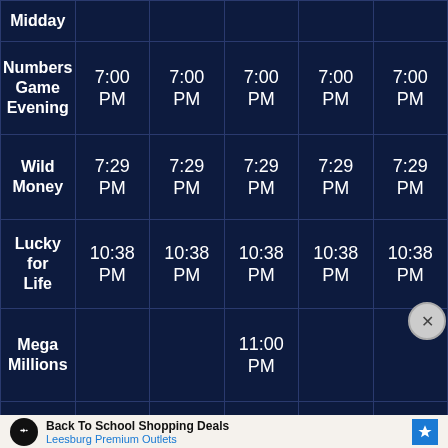| Game | Col1 | Col2 | Col3 | Col4 | Col5 |
| --- | --- | --- | --- | --- | --- |
| Midday |  |  |  |  |  |
| Numbers Game Evening | 7:00 PM | 7:00 PM | 7:00 PM | 7:00 PM | 7:00 PM |
| Wild Money | 7:29 PM | 7:29 PM | 7:29 PM | 7:29 PM | 7:29 PM |
| Lucky for Life | 10:38 PM | 10:38 PM | 10:38 PM | 10:38 PM | 10:38 PM |
| Mega Millions |  |  | 11:00 PM |  |  |
| Powerball |  | 10:59 PM |  | 10:59 PM |  |
[Figure (screenshot): Advertisement banner: Back To School Shopping Deals at Leesburg Premium Outlets with navigation icon]